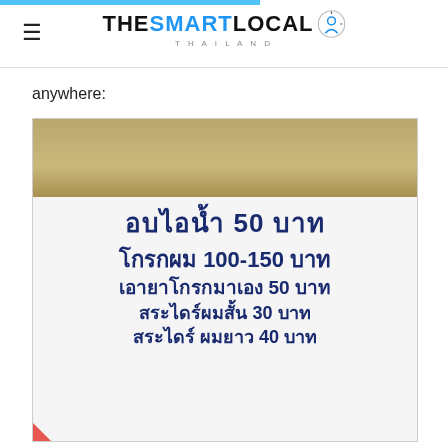THE SMART LOCAL THAILAND
anywhere:
[Figure (photo): A handwritten Thai price list sign on white board showing hair salon services and prices: อบไอน้ำ 50 บาท, โกรกผม 100-150 บาท, เอายาโกรกมาเอง 50 บาท, สระไดร์ผมสั้น 30 บาท, สระไดร์ผมยาว 40 บาท]